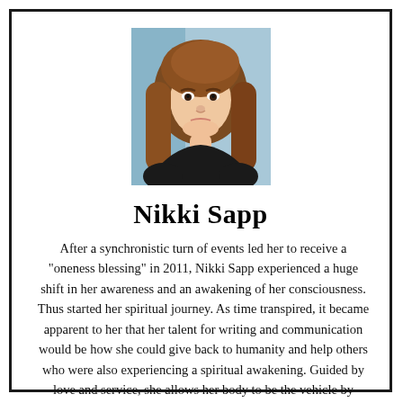[Figure (photo): Portrait photo of Nikki Sapp, a young woman with long brown hair, wearing a black top, selfie-style photo]
Nikki Sapp
After a synchronistic turn of events led her to receive a "oneness blessing" in 2011, Nikki Sapp experienced a huge shift in her awareness and an awakening of her consciousness. Thus started her spiritual journey. As time transpired, it became apparent to her that her talent for writing and communication would be how she could give back to humanity and help others who were also experiencing a spiritual awakening. Guided by love and service, she allows her body to be the vehicle by which the universe speaks to others through her writing.